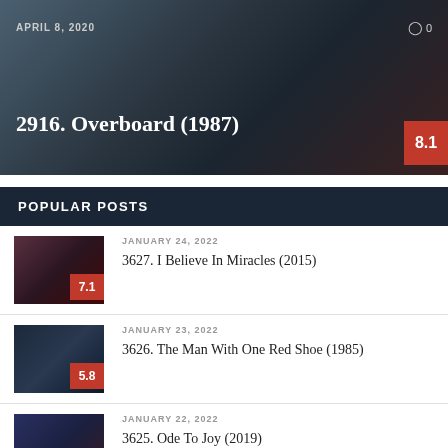[Figure (photo): Hero banner image with dark overlay showing film-related imagery, with date April 8, 2020, comment bubble with 0, title 2916. Overboard (1987) and rating badge 8.1]
POPULAR POSTS
[Figure (photo): Thumbnail image for post 3627, dark reddish tones, rating badge 7.1]
JANUARY 24, 2022
3627. I Believe In Miracles (2015)
[Figure (photo): Thumbnail image for post 3626, dark blue tones, rating badge 5.8]
JANUARY 23, 2022
3626. The Man With One Red Shoe (1985)
[Figure (photo): Thumbnail image for post 3625, dark blue-red tones, rating badge 7.9]
JANUARY 22, 2022
3625. Ode To Joy (2019)